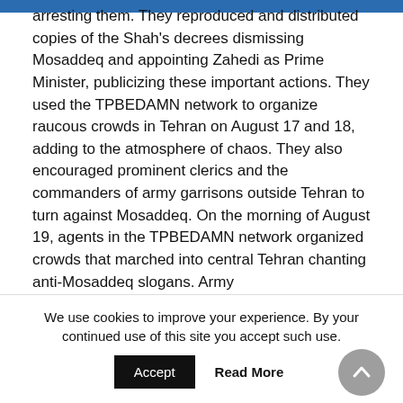arresting them. They reproduced and distributed copies of the Shah's decrees dismissing Mosaddeq and appointing Zahedi as Prime Minister, publicizing these important actions. They used the TPBEDAMN network to organize raucous crowds in Tehran on August 17 and 18, adding to the atmosphere of chaos. They also encouraged prominent clerics and the commanders of army garrisons outside Tehran to turn against Mosaddeq. On the morning of August 19, agents in the TPBEDAMN network organized crowds that marched into central Tehran chanting anti-Mosaddeq slogans. Army
We use cookies to improve your experience. By your continued use of this site you accept such use.
Accept   Read More